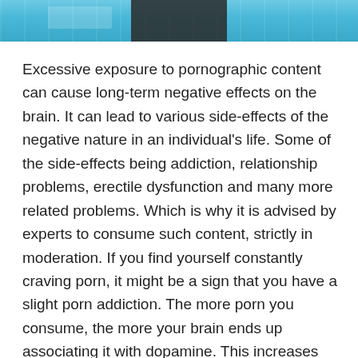[Figure (photo): Partial photo strip at top of page showing a person (torso/legs in dark clothing) against a blue textured background.]
Excessive exposure to pornographic content can cause long-term negative effects on the brain. It can lead to various side-effects of the negative nature in an individual's life. Some of the side-effects being addiction, relationship problems, erectile dysfunction and many more related problems. Which is why it is advised by experts to consume such content, strictly in moderation. If you find yourself constantly craving porn, it might be a sign that you have a slight porn addiction. The more porn you consume, the more your brain ends up associating it with dopamine. This increases your craving for it, and thus starts the vicious cycle of porn addiction.